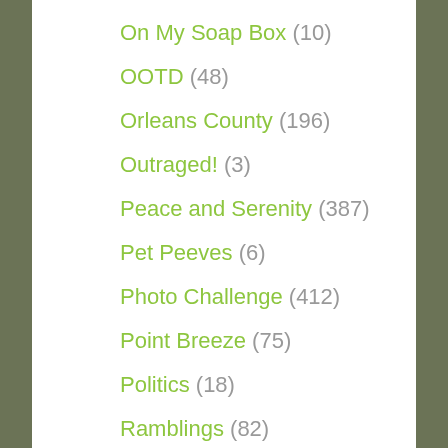On My Soap Box (10)
OOTD (48)
Orleans County (196)
Outraged! (3)
Peace and Serenity (387)
Pet Peeves (6)
Photo Challenge (412)
Point Breeze (75)
Politics (18)
Ramblings (82)
Random Thoughts (141)
Recipes (23)